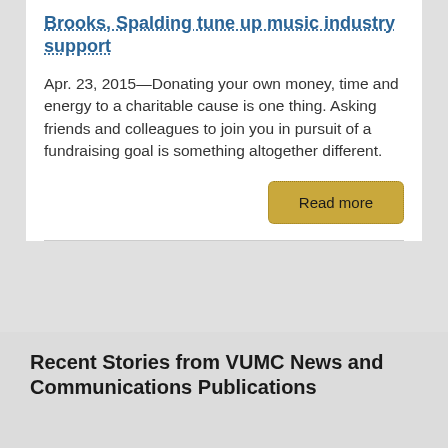Brooks, Spalding tune up music industry support
Apr. 23, 2015—Donating your own money, time and energy to a charitable cause is one thing. Asking friends and colleagues to join you in pursuit of a fundraising goal is something altogether different.
Read more
Recent Stories from VUMC News and Communications Publications
[Figure (photo): Cover of Vanderbilt Medicine magazine, Spring 2022, with large white text reading MEDICINE on a gold and dark background]